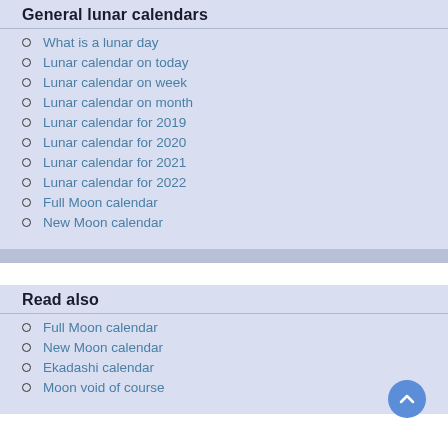General lunar calendars
What is a lunar day
Lunar calendar on today
Lunar calendar on week
Lunar calendar on month
Lunar calendar for 2019
Lunar calendar for 2020
Lunar calendar for 2021
Lunar calendar for 2022
Full Moon calendar
New Moon calendar
Read also
Full Moon calendar
New Moon calendar
Ekadashi calendar
Moon void of course